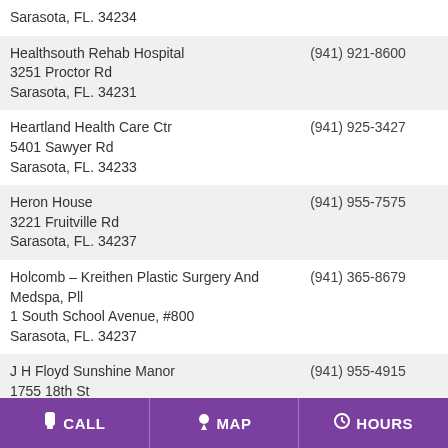| Name / Address | Phone |
| --- | --- |
| Sarasota, FL. 34234 |  |
| Healthsouth Rehab Hospital
3251 Proctor Rd
Sarasota, FL. 34231 | (941) 921-8600 |
| Heartland Health Care Ctr
5401 Sawyer Rd
Sarasota, FL. 34233 | (941) 925-3427 |
| Heron House
3221 Fruitville Rd
Sarasota, FL. 34237 | (941) 955-7575 |
| Holcomb – Kreithen Plastic Surgery And Medspa, Pll
1 South School Avenue, #800
Sarasota, FL. 34237 | (941) 365-8679 |
| J H Floyd Sunshine Manor
1755 18th St
Sarasota, FL. 34234 | (941) 955-4915 |
| J H Floyd Sunshine Village
1777 18th St
Sarasota, FL. 34234 | (941) 955-9367 |
| Jefferson Center | (941) 953-9585 |
CALL  MAP  HOURS